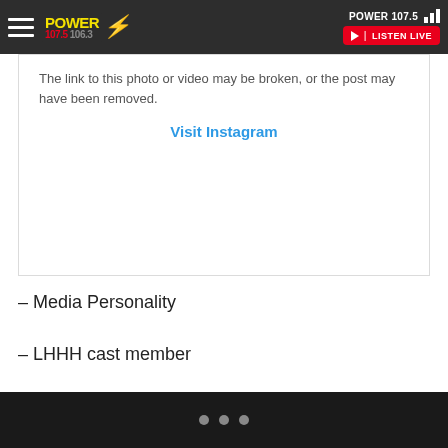POWER 107.5 | LISTEN LIVE
[Figure (screenshot): Instagram embedded post placeholder showing message: The link to this photo or video may be broken, or the post may have been removed. Visit Instagram link shown in blue.]
– Media Personality
– LHHH cast member